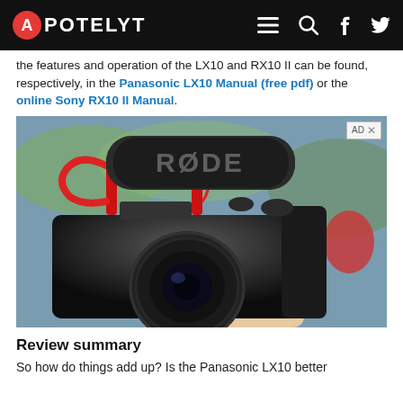APOTELYT
the features and operation of the LX10 and RX10 II can be found, respectively, in the Panasonic LX10 Manual (free pdf) or the online Sony RX10 II Manual.
[Figure (photo): A Canon DSLR camera being held in a hand with a RØDE shotgun microphone mounted on top via a red shock mount. The camera is pointed to the right. The background shows a blurred outdoor scene.]
Review summary
So how do things add up? Is the Panasonic LX10 better